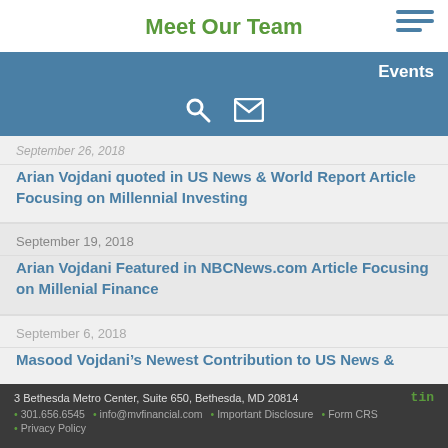Meet Our Team
Events
September 26, 2018
Arian Vojdani quoted in US News & World Report Article Focusing on Millennial Investing
September 19, 2018
Arian Vojdani Featured in NBCNews.com Article Focusing on Millenial Finance
September 6, 2018
Masood Vojdani’s Newest Contribution to US News &
3 Bethesda Metro Center, Suite 650, Bethesda, MD 20814  301.656.6545  info@mvfinancial.com  Important Disclosure  Form CRS  Privacy Policy